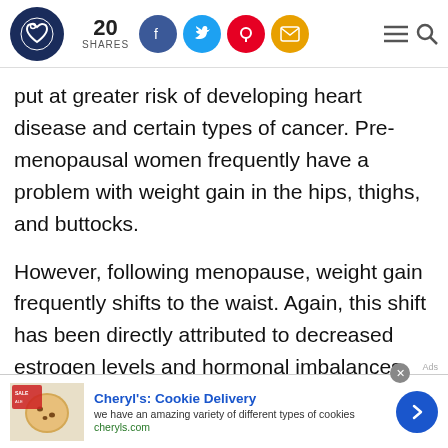20 SHARES — social share bar with Facebook, Twitter, Pinterest, Email icons and hamburger menu/search
put at greater risk of developing heart disease and certain types of cancer. Pre-menopausal women frequently have a problem with weight gain in the hips, thighs, and buttocks.
However, following menopause, weight gain frequently shifts to the waist. Again, this shift has been directly attributed to decreased estrogen levels and hormonal imbalances.
[Figure (other): Advertisement banner for Cheryl's Cookie Delivery with cookie image, title 'Cheryl's: Cookie Delivery', description 'we have an amazing variety of different types of cookies', URL 'cheryls.com', and a blue arrow button.]